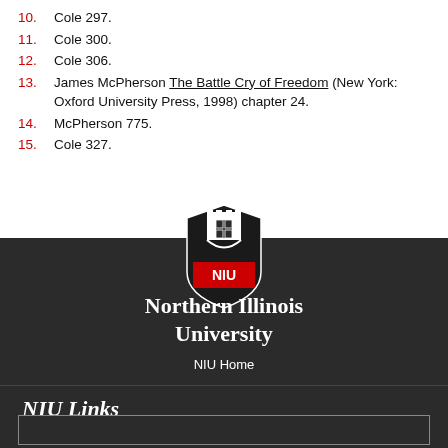10. Cole 297.
11. Cole 300.
12. Cole 306.
13. James McPherson The Battle Cry of Freedom (New York: Oxford University Press, 1998) chapter 24.
14. McPherson 775.
15. Cole 327.
[Figure (logo): NIU (Northern Illinois University) shield logo with castle tower and red banner]
Northern Illinois University
NIU Home
NIU Links